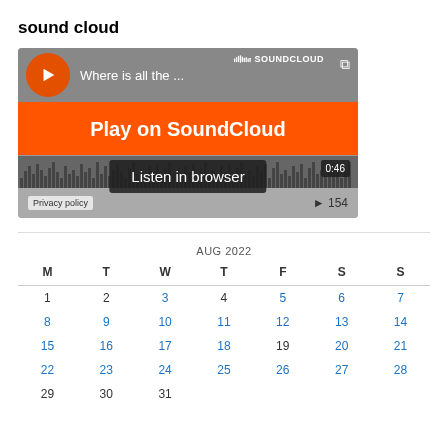sound cloud
[Figure (screenshot): SoundCloud embedded player widget showing 'Where is all the ...' track with orange 'Play on SoundCloud' button, waveform visualization, 'Listen in browser' overlay, 0:46 timer, and 154 plays count. Privacy policy link at bottom left.]
| M | T | W | T | F | S | S |
| --- | --- | --- | --- | --- | --- | --- |
| 1 | 2 | 3 | 4 | 5 | 6 | 7 |
| 8 | 9 | 10 | 11 | 12 | 13 | 14 |
| 15 | 16 | 17 | 18 | 19 | 20 | 21 |
| 22 | 23 | 24 | 25 | 26 | 27 | 28 |
| 29 | 30 | 31 |  |  |  |  |